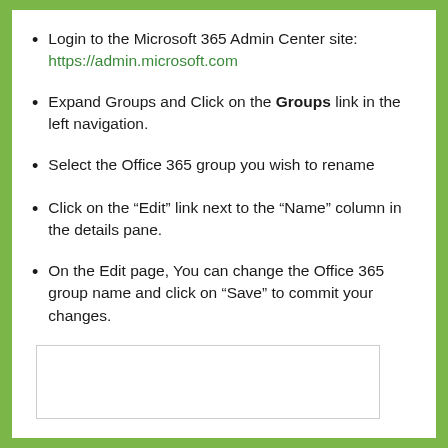Login to the Microsoft 365 Admin Center site: https://admin.microsoft.com
Expand Groups and Click on the Groups link in the left navigation.
Select the Office 365 group you wish to rename
Click on the “Edit” link next to the “Name” column in the details pane.
On the Edit page, You can change the Office 365 group name and click on “Save” to commit your changes.
[Figure (screenshot): Empty screenshot/image box with light gray border]